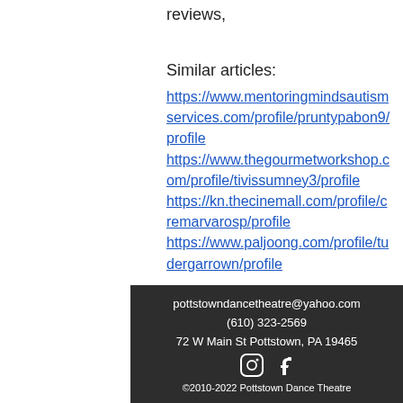reviews,
Similar articles:
https://www.mentoringmindsautismservices.com/profile/pruntypabon9/profile https://www.thegourmetworkshop.com/profile/tivissumney3/profile https://kn.thecinemall.com/profile/cremarvarosp/profile https://www.paljoong.com/profile/tudergarrown/profile
pottstowndancetheatre@yahoo.com
(610) 323-2569
72 W Main St Pottstown, PA 19465
©2010-2022 Pottstown Dance Theatre